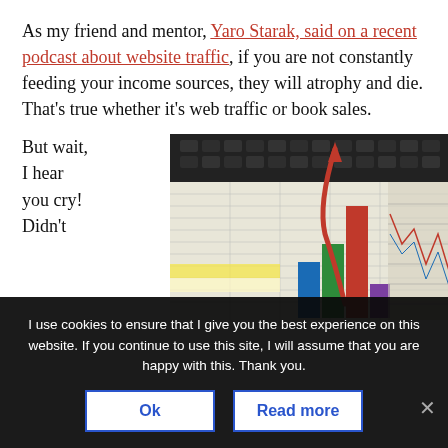As my friend and mentor, Yaro Starak, said on a recent podcast about website traffic, if you are not constantly feeding your income sources, they will atrophy and die. That's true whether it's web traffic or book sales.
But wait, I hear you cry! Didn't
[Figure (photo): Photo of financial spreadsheets/charts with bar chart and upward-pointing red arrow, with a laptop keyboard visible at the top.]
I use cookies to ensure that I give you the best experience on this website. If you continue to use this site, I will assume that you are happy with this. Thank you.